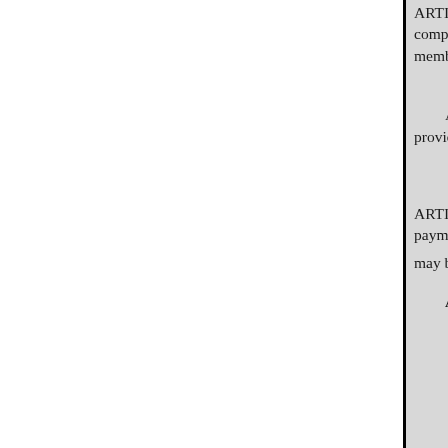ARTICLE VI.- The President, by Local Council in any county in t composing such Local Council. members. No person shall be eli time, a member of this Associati
ARTICLE VII. – All members provided, shall become member provided for. But after the adjou as herein provided.
ARTICLE VIII.—Each member be qualified to exercise any priv payment thereof enforced, as may be provided by the By-laws free of charge. The admission fe
ADOPTION OR AMENDME